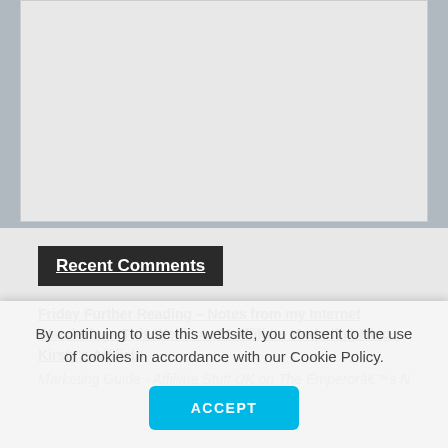[Figure (other): Gray placeholder box / image area]
Recent Comments
Friday Further Reading – Notes from my Internet Wanderings This Week! » UK Affiliate Marketing Blog - Kirsty's Affiliate Marketing Guide - Affiliate Stuff UK on The Emperorâ€™s New
By continuing to use this website, you consent to the use of cookies in accordance with our Cookie Policy.
ACCEPT